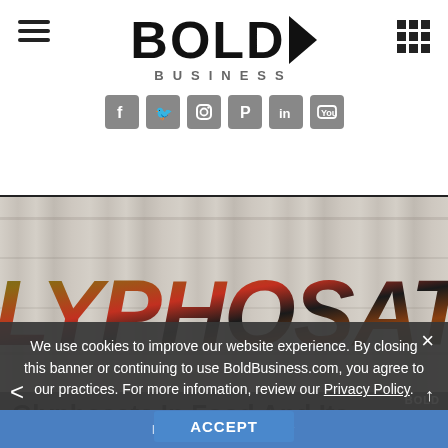Bold Business
[Figure (screenshot): Bold Business website header with hamburger menu, Bold Business logo with play button icon, grid icon, and social media icons for Facebook, Twitter, Instagram, Pinterest, LinkedIn, YouTube]
[Figure (photo): Hero image with GLYPHOSATE text on wood plank background, letters filled with colorful fruits and vegetables]
We use cookies to improve our website experience. By closing this banner or continuing to use BoldBusiness.com, you agree to our practices. For more infomation, review our Privacy Policy.
Glyphosate In Food And Its Impact To Our Health:
Readership Survey